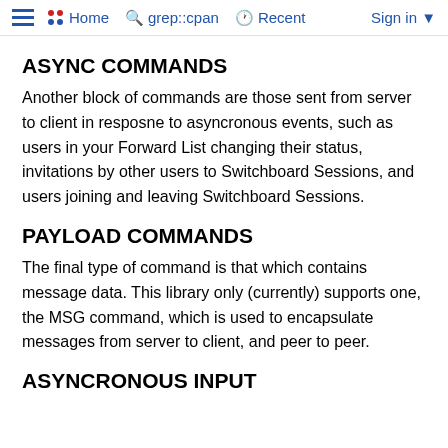≡  •• Home  🔍 grep::cpan  🕐 Recent  Sign in ▼
ASYNC COMMANDS
Another block of commands are those sent from server to client in resposne to asyncronous events, such as users in your Forward List changing their status, invitations by other users to Switchboard Sessions, and users joining and leaving Switchboard Sessions.
PAYLOAD COMMANDS
The final type of command is that which contains message data. This library only (currently) supports one, the MSG command, which is used to encapsulate messages from server to client, and peer to peer.
ASYNCRONOUS INPUT